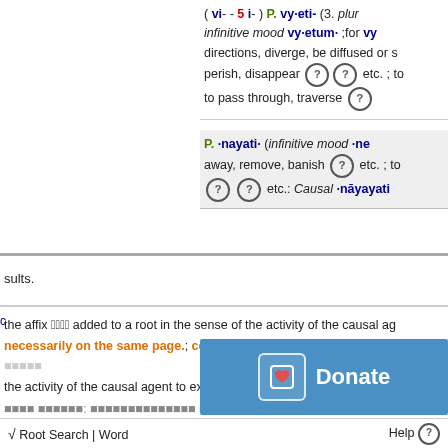( vi- - 5 i- ) P. vy-eti- (3. plur. infinitive mood vy-etum- ;for vy- directions, diverge, be diffused or scattered; perish, disappear etc. ; to pass through, traverse
P. -nayati- (infinitive mood -ne away, remove, banish etc. ; to etc. etc.: Causal -nayayati
sults.
the affix added to a root in the sense of the activity of the causal ag
necessarily on the same page.; confer, compare
the activity of the causal agent to expres k
ka c
[Figure (other): Donate button overlay with blue background, bracket icon with heart, and Donate text in white]
√ Root Search | Word    Help ?